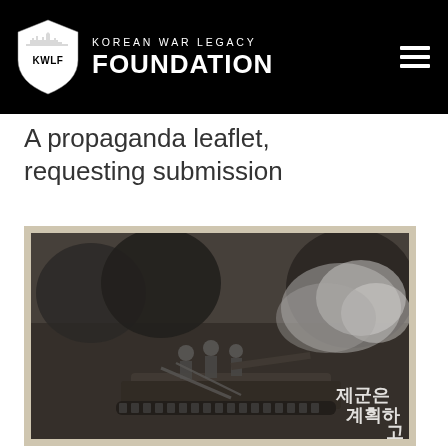Korean War Legacy Foundation
A propaganda leaflet, requesting submission
[Figure (photo): A historical black-and-white photograph printed on a propaganda leaflet showing soldiers with a tank firing, with Korean text visible in the bottom right corner reading 제군은 계획하고 (roughly 'Soldiers, plan...')]